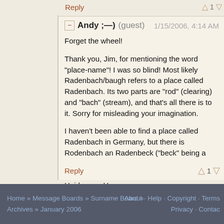Reply
Andy ;—) (guest) 1/15/2006, 4:14 AM
Forget the wheel!
Thank you, Jim, for mentioning the word "place-name"! I was so blind! Most likely Radenbach/baugh refers to a place called Radenbach. Its two parts are "rod" (clearing) and "bach" (stream), and that's all there is to it. Sorry for misleading your imagination.
I haven't been able to find a place called Radenbach in Germany, but there is Rodenbach an Radenbeck ("beck" being a northern variant of "bach"). But I did find a stream called Radenbach in the Lüneburger Heide near Hannover.
Reply
Home » Message Boards » Surname Board » Archives » January 2006   About · Help · Copyright · Terms   Privacy · Contact